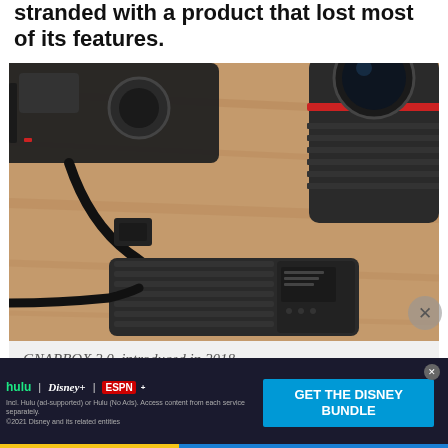stranded with a product that lost most of its features.
[Figure (photo): GNARBOX 2.0 portable storage device connected by USB cable on a wooden surface, with a camera and camera lens in the background.]
GNARBOX 2.0, introduced in 2018.
After some investigation, it was discovered that the corpo[ration...]
[Figure (other): Advertisement for the Disney Bundle including Hulu, Disney+, and ESPN+. 'GET THE DISNEY BUNDLE' call-to-action button. Includes fine print about Hulu and Disney access options. ©2021 Disney and its related entities.]